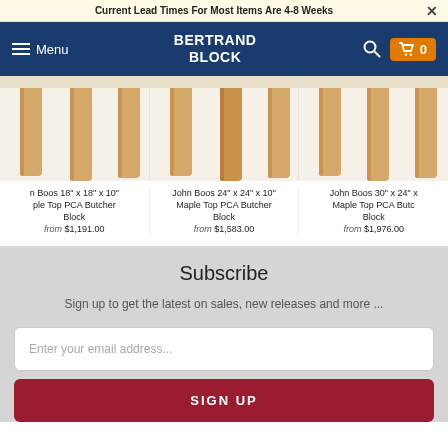Current Lead Times For Most Items Are 4-8 Weeks
[Figure (screenshot): Bertrand Block website navigation header with hamburger menu, logo, search icon, and shopping cart showing 0 items]
[Figure (photo): Three John Boos butcher block tables showing wooden legs from below, partially cropped]
n Boos 18" x 18" x 10" ple Top PCA Butcher Block
from $1,191.00
John Boos 24" x 24" x 10" Maple Top PCA Butcher Block
from $1,583.00
John Boos 30" x 24" x... Maple Top PCA Butc... Block
from $1,976.00
Subscribe
Sign up to get the latest on sales, new releases and more ...
Enter your email address...
SIGN UP